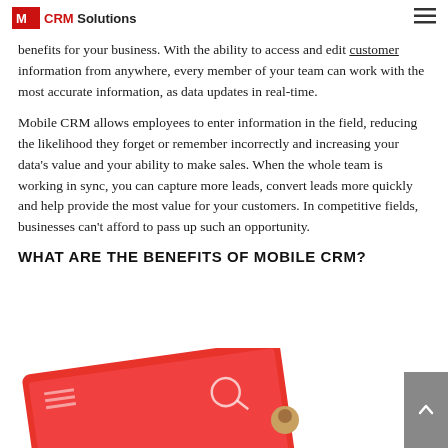CRM Solutions
benefits for your business. With the ability to access and edit customer information from anywhere, every member of your team can work with the most accurate information, as data updates in real-time.
Mobile CRM allows employees to enter information in the field, reducing the likelihood they forget or remember incorrectly and increasing your data's value and your ability to make sales. When the whole team is working in sync, you can capture more leads, convert leads more quickly and help provide the most value for your customers. In competitive fields, businesses can't afford to pass up such an opportunity.
WHAT ARE THE BENEFITS OF MOBILE CRM?
[Figure (photo): Red tablet/device showing Statistics screen, partially visible at bottom of page]